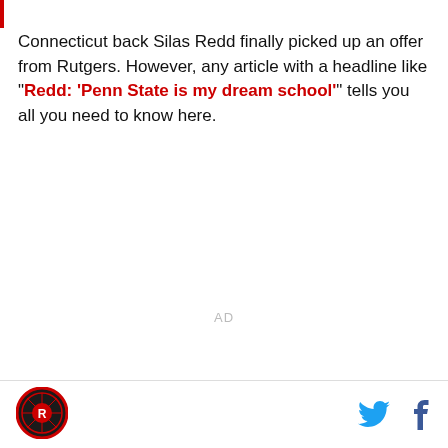Connecticut back Silas Redd finally picked up an offer from Rutgers. However, any article with a headline like "Redd: 'Penn State is my dream school'" tells you all you need to know here.
AD
[Figure (logo): Sports website logo — circular red and black emblem with letter R]
[Figure (other): Twitter bird icon (blue) and Facebook f icon (dark blue) — social share buttons]